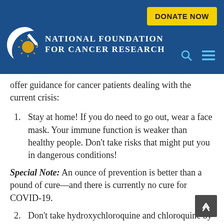[Figure (logo): National Foundation for Cancer Research logo with white crescent moon and yellow starburst on blue background, with DONATE NOW yellow button and navigation icons]
offer guidance for cancer patients dealing with the current crisis:
Stay at home! If you do need to go out, wear a face mask. Your immune function is weaker than healthy people. Don’t take risks that might put you in dangerous conditions!
Special Note: An ounce of prevention is better than a pound of cure—and there is currently no cure for COVID-19.
Don’t take hydroxychloroquine and chloroquine by yourself at home without